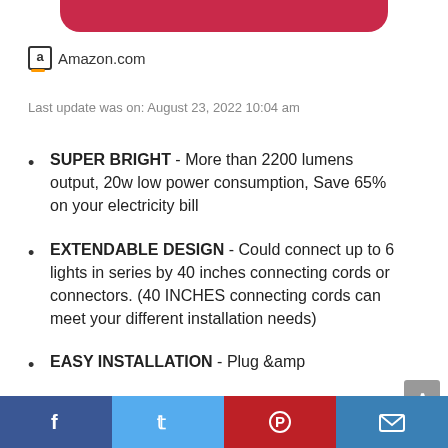[Figure (other): Red button at top of page (partially visible, cropped)]
Amazon.com
Last update was on: August 23, 2022 10:04 am
SUPER BRIGHT - More than 2200 lumens output, 20w low power consumption, Save 65% on your electricity bill
EXTENDABLE DESIGN - Could connect up to 6 lights in series by 40 inches connecting cords or connectors. (40 INCHES connecting cords can meet your different installation needs)
EASY INSTALLATION - Plug &amp
play. For added convenience, there are 4PCS 59 inches power cords each package,1 power cords
Facebook | Twitter | Pinterest | Email